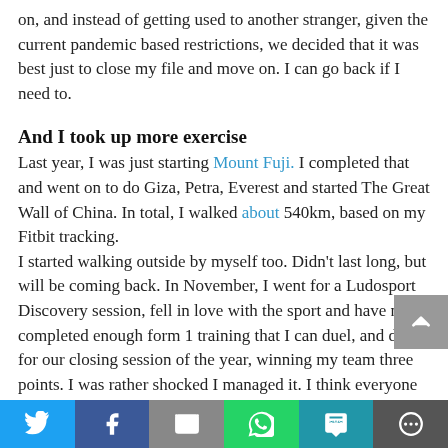on, and instead of getting used to another stranger, given the current pandemic based restrictions, we decided that it was best just to close my file and move on. I can go back if I need to.
And I took up more exercise
Last year, I was just starting Mount Fuji. I completed that and went on to do Giza, Petra, Everest and started The Great Wall of China. In total, I walked about 540km, based on my Fitbit tracking.
I started walking outside by myself too. Didn't last long, but will be coming back. In November, I went for a Ludosport Discovery session, fell in love with the sport and have now completed enough form 1 training that I can duel, and did for our closing session of the year, winning my team three points. I was rather shocked I managed it. I think everyone else was too, as I often refuse to duel, or withdraw when afraid. I am dealing
Twitter | Facebook | Email | WhatsApp | SMS | More